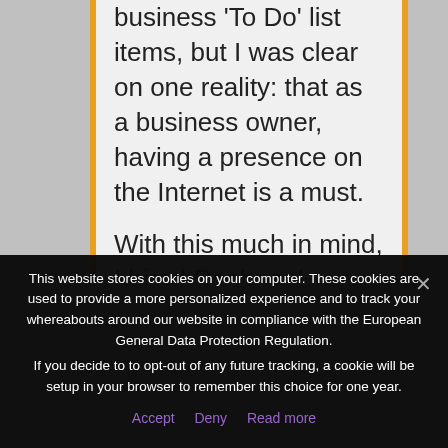business 'To Do' list items, but I was clear on one reality: that as a business owner, having a presence on the Internet is a must.
With this much in mind, I hired Rachna. I immediately liked Rachna's personable style and felt her training as a psychologist would lend nicely to
This website stores cookies on your computer. These cookies are used to provide a more personalized experience and to track your whereabouts around our website in compliance with the European General Data Protection Regulation.
If you decide to to opt-out of any future tracking, a cookie will be setup in your browser to remember this choice for one year.